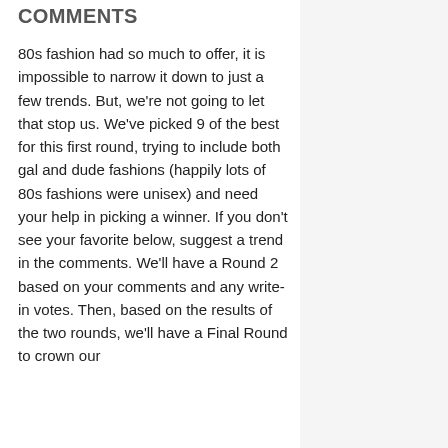COMMENTS
80s fashion had so much to offer, it is impossible to narrow it down to just a few trends.  But, we're not going to let that stop us.  We've picked 9 of the best for this first round, trying to include both gal and dude fashions (happily lots of 80s fashions were unisex) and need your help in picking a winner.  If you don't see your favorite below, suggest a trend in the comments.  We'll have a Round 2 based on your comments and any write-in votes.  Then, based on the results of the two rounds, we'll have a Final Round to crown our